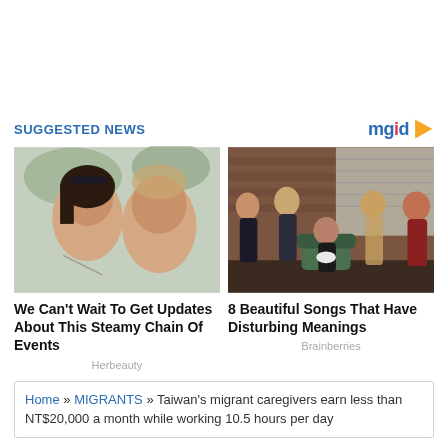SUGGESTED NEWS
[Figure (photo): Couple selfie photo (woman and man close together outdoors)]
[Figure (photo): Group of five musicians posing indoors near brick wall]
We Can't Wait To Get Updates About This Steamy Chain Of Events
Herbeauty
8 Beautiful Songs That Have Disturbing Meanings
Brainberries
Home » MIGRANTS » Taiwan's migrant caregivers earn less than NT$20,000 a month while working 10.5 hours per day
Taiwan's migrant caregivers earn less than...